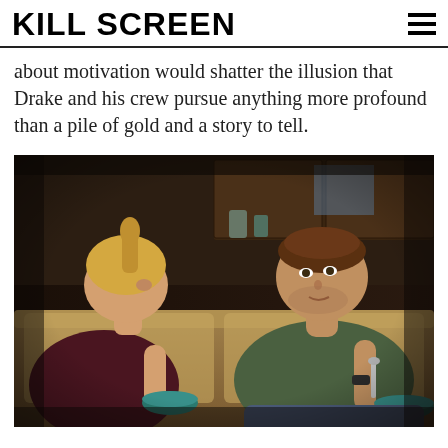KILL SCREEN
about motivation would shatter the illusion that Drake and his crew pursue anything more profound than a pile of gold and a story to tell.
[Figure (photo): Screenshot from a video game (Uncharted 4) showing two characters sitting on a couch in a kitchen setting. On the left is a blonde woman in a dark red/maroon top holding a teal bowl. On the right is a brown-haired man in a green long-sleeve shirt holding a spoon and a teal bowl, looking at the woman.]